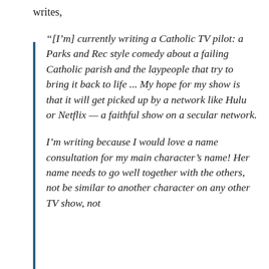writes,
“[I’m] currently writing a Catholic TV pilot: a Parks and Rec style comedy about a failing Catholic parish and the laypeople that try to bring it back to life ... My hope for my show is that it will get picked up by a network like Hulu or Netflix — a faithful show on a secular network.

I’m writing because I would love a name consultation for my main character’s name! Her name needs to go well together with the others, not be similar to another character on any other TV show, not